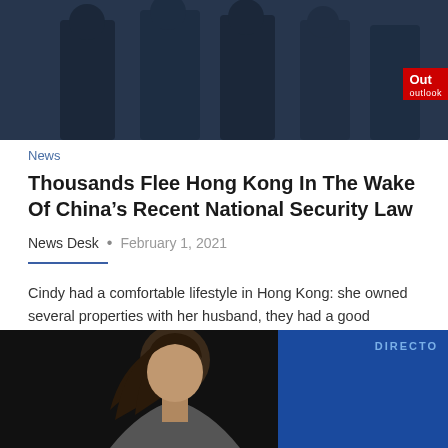[Figure (photo): Top image showing police officers in dark uniforms with an Outlook magazine badge overlay in the top-right corner]
News
Thousands Flee Hong Kong In The Wake Of China’s Recent National Security Law
News Desk • February 1, 2021
Cindy had a comfortable lifestyle in Hong Kong: she owned several properties with her husband, they had a good business going. But last year she made up her mind to…
[Figure (photo): Bottom image showing a woman with dark hair against a dark background with a blue panel on the right side containing the text DIRECTOR]